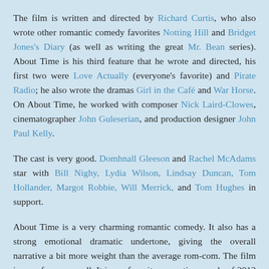The film is written and directed by Richard Curtis, who also wrote other romantic comedy favorites Notting Hill and Bridget Jones's Diary (as well as writing the great Mr. Bean series). About Time is his third feature that he wrote and directed, his first two were Love Actually (everyone's favorite) and Pirate Radio; he also wrote the dramas Girl in the Café and War Horse. On About Time, he worked with composer Nick Laird-Clowes, cinematographer John Guleserian, and production designer John Paul Kelly.
The cast is very good. Domhnall Gleeson and Rachel McAdams star with Bill Nighy, Lydia Wilson, Lindsay Duncan, Tom Hollander, Margot Robbie, Will Merrick, and Tom Hughes in support.
About Time is a very charming romantic comedy. It also has a strong emotional dramatic undertone, giving the overall narrative a bit more weight than the average rom-com. The film is very funny as well. It is my favorite romantic comedy of 2013 and among my favorite twenty-five films of the year. It is a must-see for fans of rom-coms and Richard Curtis's